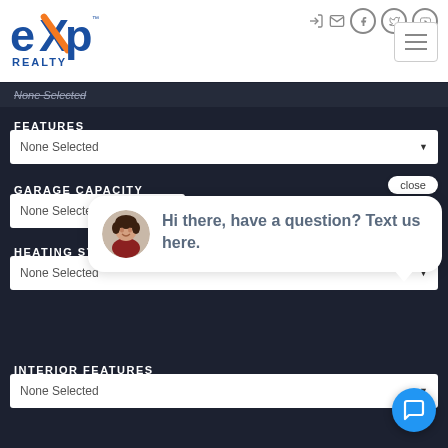[Figure (logo): eXp Realty logo with blue and orange text]
None Selected
FEATURES
None Selected
close
GARAGE CAPACITY
None Selected
HEATING SYSTEM
None Selected
Hi there, have a question? Text us here.
INTERIOR FEATURES
None Selected